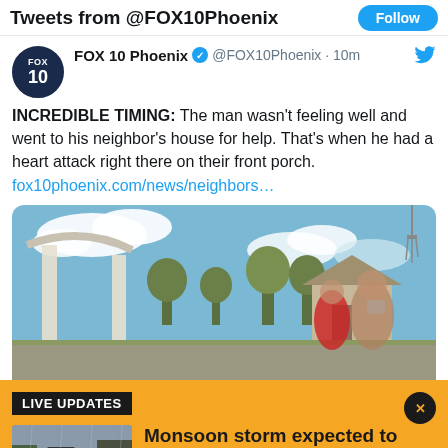Tweets from @FOX10Phoenix
FOX 10 Phoenix @FOX10Phoenix · 10m
INCREDIBLE TIMING: The man wasn't feeling well and went to his neighbor's house for help. That's when he had a heart attack right there on their front porch. fox10phoenix.com/news/neighbors…
[Figure (photo): Outdoor porch/driveway scene with houses and trees under blue sky]
[Figure (screenshot): Yellow live updates banner overlay showing monsoon storm news article with thumbnail of cars on wet road]
LIVE UPDATES
Monsoon storm expected to arrive in Phoenix area: Live radar, updates
The Phoenix area is expecting another round of monsoon storms as most of the state is under a flood watch through Saturday night. We have the latest on this round of wet weather.